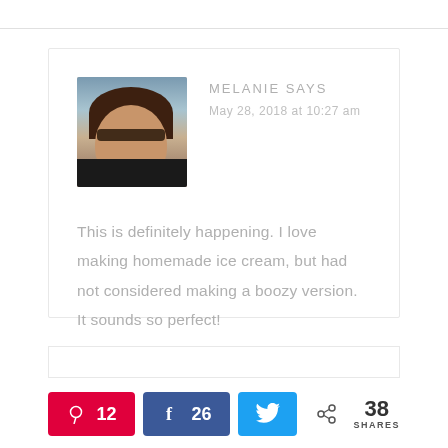[Figure (photo): Profile photo of Melanie, a woman with dark curly hair and glasses, shown from shoulders up against an outdoor background]
MELANIE SAYS
May 28, 2018 at 10:27 am
This is definitely happening. I love making homemade ice cream, but had not considered making a boozy version. It sounds so perfect!
[Figure (infographic): Social share buttons: Pinterest with count 12, Facebook with count 26, Twitter button, and total share count of 38 SHARES]